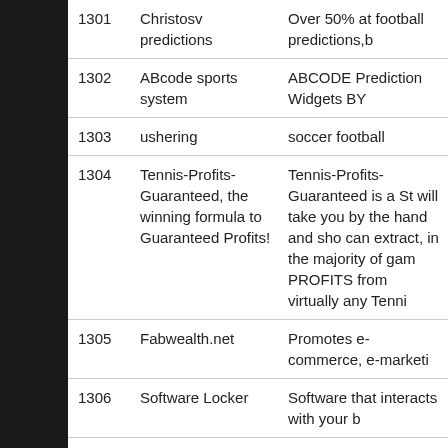| # | Name | Description |
| --- | --- | --- |
| 1301 | Christosv predictions | Over 50% at football predictions,b |
| 1302 | ABcode sports system | ABCODE Prediction Widgets BY |
| 1303 | ushering | soccer football |
| 1304 | Tennis-Profits-Guaranteed, the winning formula to Guaranteed Profits! | Tennis-Profits-Guaranteed is a St will take you by the hand and sho can extract, in the majority of gam PROFITS from virtually any Tenni |
| 1305 | Fabwealth.net | Promotes e-commerce, e-marketi |
| 1306 | Software Locker | Software that interacts with your b |
| 1307 | test.com | test |
| 1308 | tabonito | qualquer coisa |
| 1309 | RippedBody Sports | An amazing site that will show yo moulded body in weeks |
| 1310 | Guia de apuestas | la mejor guia de apuestas para qu de las ocasiones |